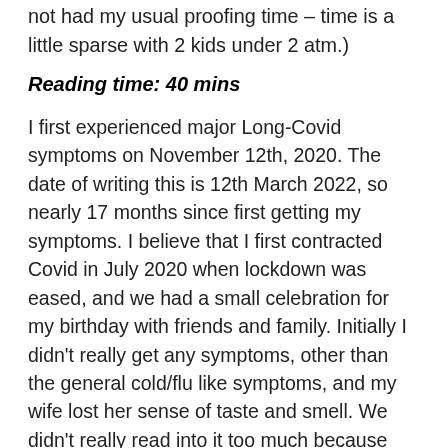not had my usual proofing time – time is a little sparse with 2 kids under 2 atm.)
Reading time: 40 mins
I first experienced major Long-Covid symptoms on November 12th, 2020. The date of writing this is 12th March 2022, so nearly 17 months since first getting my symptoms. I believe that I first contracted Covid in July 2020 when lockdown was eased, and we had a small celebration for my birthday with friends and family. Initially I didn't really get any symptoms, other than the general cold/flu like symptoms, and my wife lost her sense of taste and smell. We didn't really read into it too much because we'd just had our first child on 31st March 2020, so we were exhausted from the lack of sleep. We both seemingly recovered fine and continued about our lives as busy and under slept, but happy new parents over the rest of that summer. I did